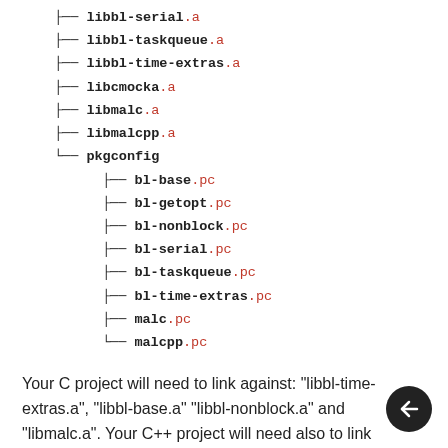├── libbl-serial.a
├── libbl-taskqueue.a
├── libbl-time-extras.a
├── libcmocka.a
├── libmalc.a
├── libmalcpp.a
└── pkgconfig
├── bl-base.pc
├── bl-getopt.pc
├── bl-nonblock.pc
├── bl-serial.pc
├── bl-taskqueue.pc
├── bl-time-extras.pc
├── malc.pc
└── malcpp.pc
Your C project will need to link against: "libbl-time-extras.a", "libbl-base.a" "libbl-nonblock.a" and "libmalc.a". Your C++ project will need also to link "libmalcpp.a".